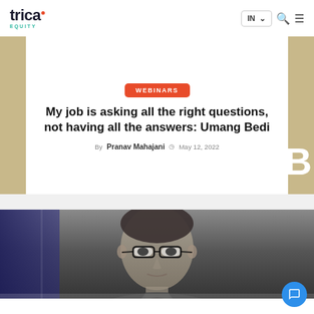trica EQUITY — IN — search — menu
WEBINARS
My job is asking all the right questions, not having all the answers: Umang Bedi
By Pranav Mahajani  May 12, 2022
[Figure (photo): Black and white portrait photograph of Umang Bedi, a man wearing glasses, looking slightly upward, with a dark background]